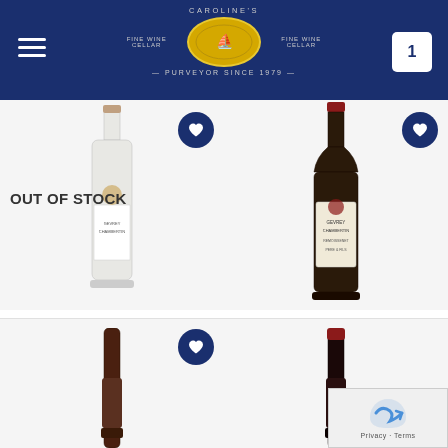Caroline's Fine Wine Cellar — Purveyor Since 1979
[Figure (photo): Wine bottle: Gevrey-Chambertin Bouchard Pere et Fils 2016, labeled OUT OF STOCK]
FRANCE
Gevrey-Chambertin Bouchard Pere et Fils 2016
R792.00
[Figure (photo): Wine bottle: Gevrey-Chambertin Remoissenet 2015]
FRANCE
Gevrey-Chambertin Remoissenet 2015
R1,239.00
[Figure (photo): Wine bottle bottom portion, third product]
[Figure (photo): Wine bottle bottom portion, fourth product]